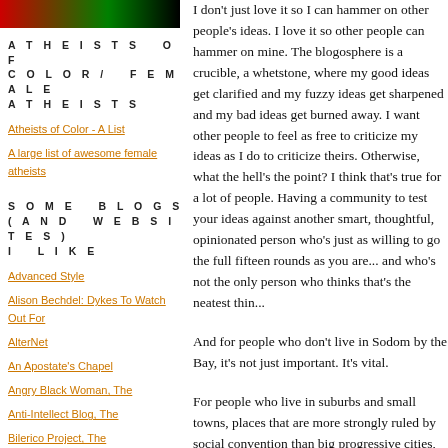[Figure (illustration): Small image with red, green, and black color blocks (flag-like)]
ATHEISTS OF COLOR/ FEMALE ATHEISTS
Atheists of Color - A List
A large list of awesome female atheists
SOME BLOGS (AND WEBSITES) I LIKE
Advanced Style
Alison Bechdel: Dykes To Watch Out For
AlterNet
An Apostate's Chapel
Angry Black Woman, The
Anti-Intellect Blog, The
Bilerico Project, The
Black Skeptics Group
I don't just love it so I can hammer on other people's ideas. I love it so other people can hammer on mine. The blogosphere is a crucible, a whetstone, where my good ideas get clarified and my fuzzy ideas get sharpened and my bad ideas get burned away. I want other people to feel as free to criticize my ideas as I do to criticize theirs. Otherwise, what the hell's the point? I think that's true for a lot of people. Having a community to test your ideas against another smart, thoughtful, opinionated person who's just as willing to go the full fifteen rounds as you are... and who's not the only person who thinks that's the neatest thing in the world.
And for people who don't live in Sodom by the Bay, it's not just important. It's vital.
For people who live in suburbs and small towns, places that are more strongly ruled by social convention than big progressive cities, the online world is a godsend. (Tangent: Is there a word for "godsend"? I couldn't think of one.) There are millions of people for whom the online world is the...